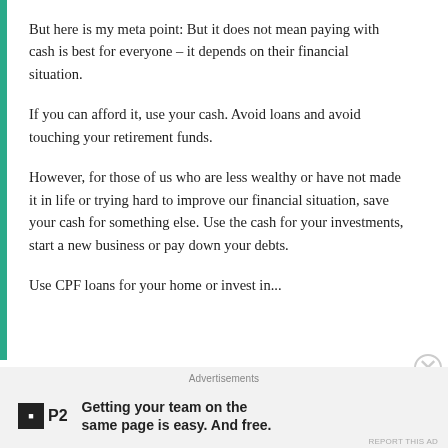But here is my meta point: But it does not mean paying with cash is best for everyone – it depends on their financial situation.
If you can afford it, use your cash. Avoid loans and avoid touching your retirement funds.
However, for those of us who are less wealthy or have not made it in life or trying hard to improve our financial situation, save your cash for something else. Use the cash for your investments, start a new business or pay down your debts.
Use CPF loans for...
Advertisements
Getting your team on the same page is easy. And free.